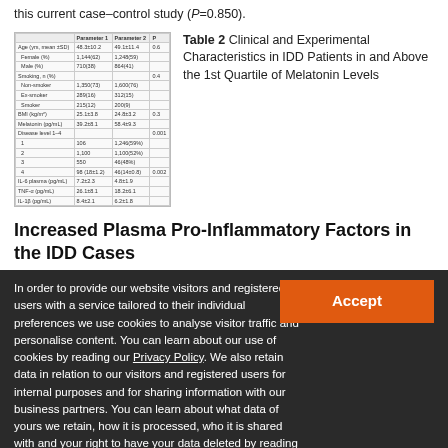this current case–control study (P=0.850).
[Figure (table-as-image): Thumbnail image of Table 2 showing clinical and experimental characteristics data in a multi-row, multi-column tabular format]
Table 2 Clinical and Experimental Characteristics in IDD Patients in and Above the 1st Quartile of Melatonin Levels
Increased Plasma Pro-Inflammatory Factors in the IDD Cases
In advanced studies, the plasma pro-inflammatory factors, including IL-1β, IL-6 and TNF-α, in the healthy controls and IDD cases in different stages were presented in Figure 5. As demonstrated in Figure 5A, no significant difference among
In order to provide our website visitors and registered users with a service tailored to their individual preferences we use cookies to analyse visitor traffic and personalise content. You can learn about our use of cookies by reading our Privacy Policy. We also retain data in relation to our visitors and registered users for internal purposes and for sharing information with our business partners. You can learn about what data of yours we retain, how it is processed, who it is shared with and your right to have your data deleted by reading our Privacy Policy.

If you agree to our use of cookies and the contents of our Privacy Policy please click 'accept'.